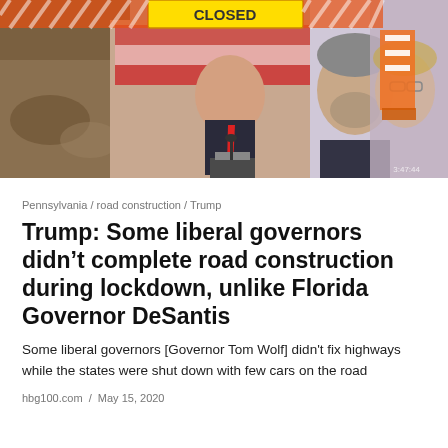[Figure (photo): Composite news image showing construction zone with orange barrels and CLOSED sign, Trump at a podium, Governor Tom Wolf, and a woman with glasses, all in a collage-style layout.]
Pennsylvania / road construction / Trump
Trump: Some liberal governors didn’t complete road construction during lockdown, unlike Florida Governor DeSantis
Some liberal governors [Governor Tom Wolf] didn't fix highways while the states were shut down with few cars on the road
hbg100.com / May 15, 2020